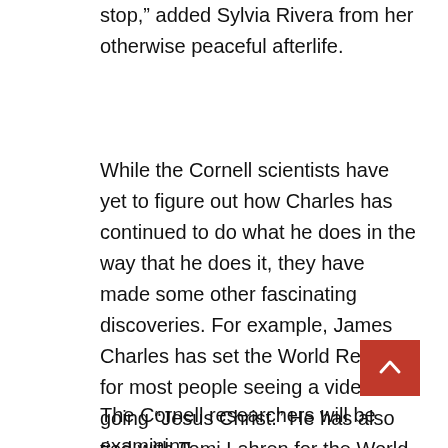stop," added Sylvia Rivera from her otherwise peaceful afterlife.
While the Cornell scientists have yet to figure out how Charles has continued to do what he does in the way that he does it, they have made some other fascinating discoveries. For example, James Charles has set the World Record for most people seeing a video and going “Jesus Christ.” He has also tied with Tomi Lahren for the World Record for most people seeing that a video has been posted and going “This oughta be good.”
The Cornell researchers will be examining...